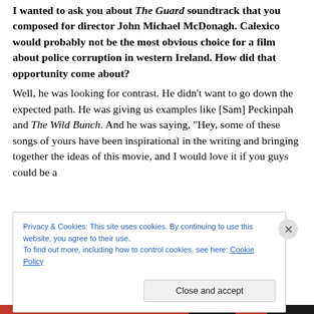I wanted to ask you about The Guard soundtrack that you composed for director John Michael McDonagh. Calexico would probably not be the most obvious choice for a film about police corruption in western Ireland. How did that opportunity come about?
Well, he was looking for contrast. He didn't want to go down the expected path. He was giving us examples like [Sam] Peckinpah and The Wild Bunch. And he was saying, "Hey, some of these songs of yours have been inspirational in the writing and bringing together the ideas of this movie, and I would love it if you guys could be a
Privacy & Cookies: This site uses cookies. By continuing to use this website, you agree to their use.
To find out more, including how to control cookies, see here: Cookie Policy
Close and accept